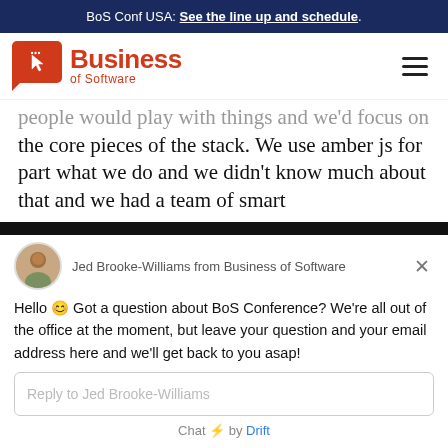BoS Conf USA: See the line up and schedule.
[Figure (logo): Business of Software logo — red speech bubble icon with cursor, red text 'Business' and 'of Software']
people would play with things and we'd focus on the core pieces of the stack. We use amber js for part what we do and we didn't know much about that and we had a team of smart
Jed Brooke-Williams from Business of Software
Hello 😊 Got a question about BoS Conference? We're all out of the office at the moment, but leave your question and your email address here and we'll get back to you asap!
Reply to Jed Brooke-Williams
Chat ⚡ by Drift